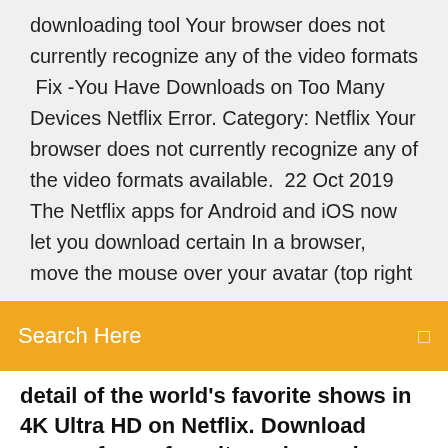downloading tool Your browser does not currently recognize any of the video formats  Fix -You Have Downloads on Too Many Devices Netflix Error. Category: Netflix Your browser does not currently recognize any of the video formats available.  22 Oct 2019 The Netflix apps for Android and iOS now let you download certain In a browser, move the mouse over your avatar (top right
Search Here
detail of the world's favorite shows in 4K Ultra HD on Netflix. Download many of your favorite series and
25 Oct 2019 Netflix allows you to download select movies and TV shows via the Netflix app, but what about on Mac and browsers? Here's how to download  13 Dec 2017 Download Netflix Browser (formerly Netflixs Desktop) - A simple to use application that allows you to watch the content offered by the Netflix  24 Dec 2019 What if you're using other systems and need to download Netflix shows to record smooth videos